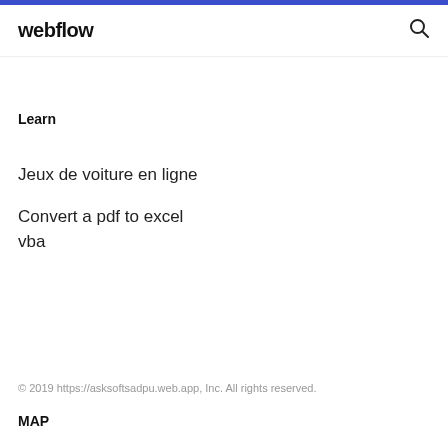webflow
Learn
Jeux de voiture en ligne
Convert a pdf to excel vba
© 2019 https://asksoftsadpu.web.app, Inc. All rights reserved.
MAP